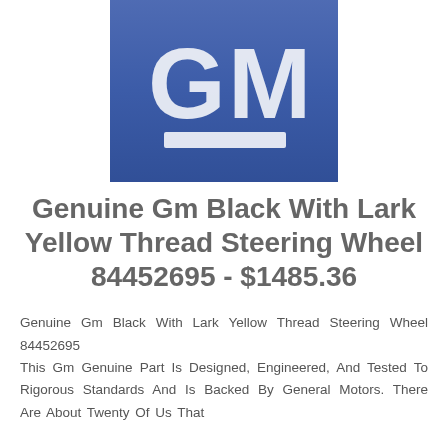[Figure (logo): GM (General Motors) logo — blue gradient square background with large white 'GM' letters and a white horizontal bar beneath them]
Genuine Gm Black With Lark Yellow Thread Steering Wheel 84452695 - $1485.36
Genuine Gm Black With Lark Yellow Thread Steering Wheel 84452695
This Gm Genuine Part Is Designed, Engineered, And Tested To Rigorous Standards And Is Backed By General Motors. There Are About Twenty Of Us That